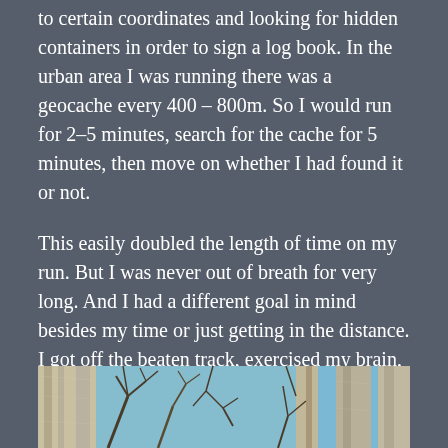to certain coordinates and looking for hidden containers in order to sign a log book. In the urban area I was running there was a geocache every 400 – 800m. So I would run for 2-5 minutes, search for the cache for 5 minutes, then move on whether I had found it or not.
This easily doubled the length of time on my run. But I was never out of breath for very long. And I had a different goal in mind besides my time or just getting in the distance. I got off the beaten track, exercised my brain, and got my run in (sort of).
[Figure (photo): A photograph of bare tree trunks and branches against a blue sky, taken from below looking upward.]